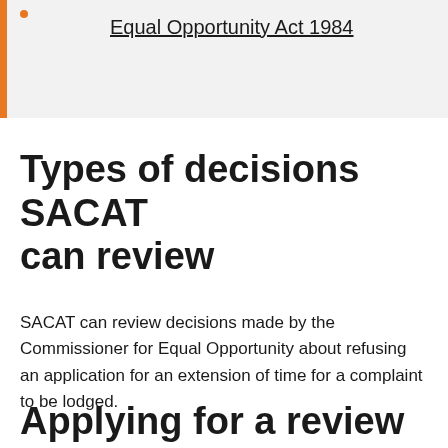Equal Opportunity Act 1984
Types of decisions SACAT can review
SACAT can review decisions made by the Commissioner for Equal Opportunity about refusing an application for an extension of time for a complaint to be lodged.
Applying for a review